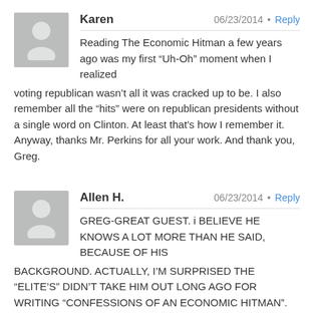Karen — 06/23/2014 · Reply
Reading The Economic Hitman a few years ago was my first “Uh-Oh” moment when I realized voting republican wasn’t all it was cracked up to be. I also remember all the “hits” were on republican presidents without a single word on Clinton. At least that’s how I remember it. Anyway, thanks Mr. Perkins for all your work. And thank you, Greg.
Allen H. — 06/23/2014 · Reply
GREG-GREAT GUEST. i BELIEVE HE KNOWS A LOT MORE THAN HE SAID, BECAUSE OF HIS BACKGROUND. ACTUALLY, I’M SURPRISED THE “ELITE’S” DIDN’T TAKE HIM OUT LONG AGO FOR WRITING “CONFESSIONS OF AN ECONOMIC HITMAN”. THEY MUST HAVE A REASON FOR ALLOWING HIM TO LIVE? IT’S NOT NEW THAT THE CORPORATIONS RUN THE